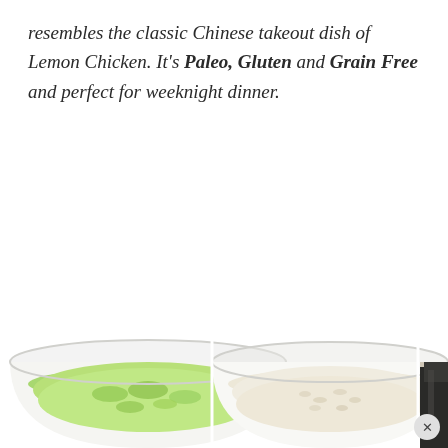resembles the classic Chinese takeout dish of Lemon Chicken. It's Paleo, Gluten and Grain Free and perfect for weeknight dinner.
[Figure (photo): Three bowls with food ingredients partially visible at the bottom of the page — first bowl with green chopped herbs/vegetables, second bowl with white rice or similar grain, third bowl partially cut off on right edge showing dark contents. A circular close button (×) appears at bottom right.]